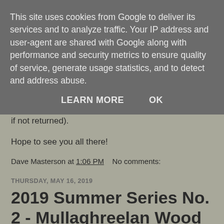This site uses cookies from Google to deliver its services and to analyze traffic. Your IP address and user-agent are shared with Google along with performance and security metrics to ensure quality of service, generate usage statistics, and to detect and address abuse.
LEARN MORE   OK
if not returned).
Hope to see you all there!
Dave Masterson at 1:06 PM   No comments:
THURSDAY, MAY 16, 2019
2019 Summer Series No. 2 - Mullaghreelan Wood
Mullaghreelan wood is an old woodland estate with an extensive network of forest roads and trails. It has a rich diversity of flora and fauna with a wide range of tree species